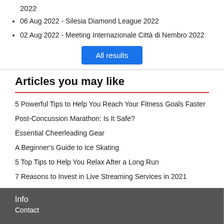2022
06 Aug 2022 - Silesia Diamond League 2022
02 Aug 2022 - Meeting Internazionale Città di Nembro 2022
All results
Articles you may like
5 Powerful Tips to Help You Reach Your Fitness Goals Faster
Post-Concussion Marathon: Is It Safe?
Essential Cheerleading Gear
A Beginner's Guide to Ice Skating
5 Top Tips to Help You Relax After a Long Run
7 Reasons to Invest in Live Streaming Services in 2021
Info
Contact